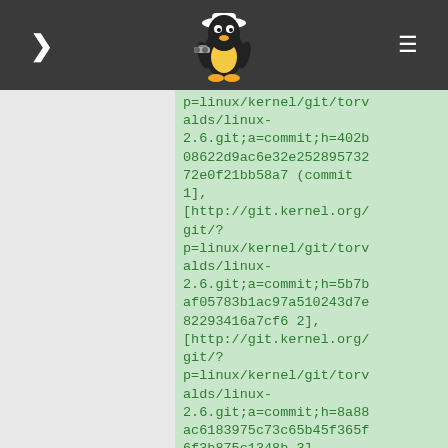Linux kernel git repository links
p=linux/kernel/git/torvalds/linux-2.6.git;a=commit;h=402b08622d9ac6e32e25289573272e0f21bb58a7 (commit 1], [http://git.kernel.org/git/?p=linux/kernel/git/torvalds/linux-2.6.git;a=commit;h=5b7baf05783b1ac97a510243d7e82293416a7cf6 2], [http://git.kernel.org/git/?p=linux/kernel/git/torvalds/linux-2.6.git;a=commit;h=8a88ac6183975c73c65b45f365f6f3b875c1348b 3], [http://git.kernel.org/git/?